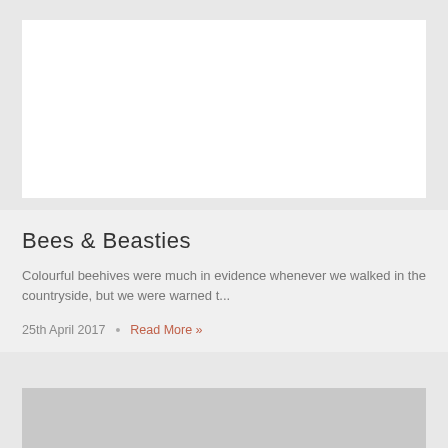[Figure (photo): White rectangular image placeholder at top of page]
Bees & Beasties
Colourful beehives were much in evidence whenever we walked in the countryside, but we were warned t...
25th April 2017  •  Read More »
[Figure (photo): Gray rectangular image placeholder at bottom of page]